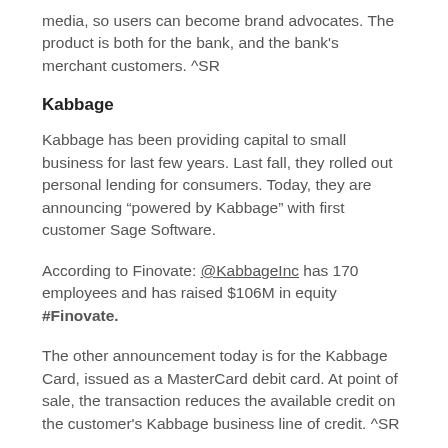media, so users can become brand advocates. The product is both for the bank, and the bank's merchant customers. ^SR
Kabbage
Kabbage has been providing capital to small business for last few years. Last fall, they rolled out personal lending for consumers. Today, they are announcing “powered by Kabbage” with first customer Sage Software.
According to Finovate: @KabbageInc has 170 employees and has raised $106M in equity #Finovate.
The other announcement today is for the Kabbage Card, issued as a MasterCard debit card. At point of sale, the transaction reduces the available credit on the customer's Kabbage business line of credit. ^SR
Atlanta-based Kabbage has a great reputation. They presented at Finovate NYC last Fall and perhaps earlier. Last Fall they launched their “Carrot” product. Showing